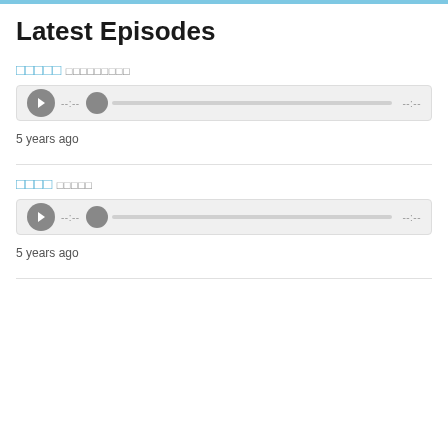Latest Episodes
□□□□□
□□□□□□□□□
[Figure (other): Audio player with play button, scrubber, and time indicators showing --:-- on both sides]
5 years ago
□□□□
□□□□□
[Figure (other): Audio player with play button, scrubber, and time indicators showing --:-- on both sides]
5 years ago